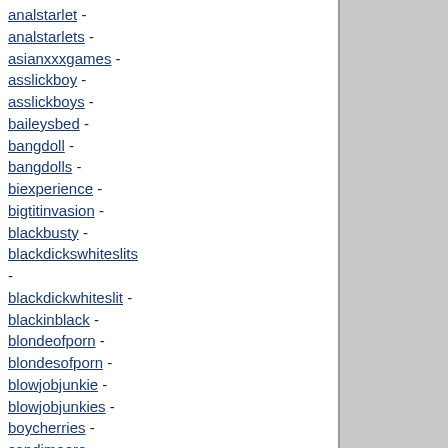analstarlet -
analstarlets -
asianxxxgames -
asslickboy -
asslickboys -
baileysbed -
bangdoll -
bangdolls -
biexperience -
bigtitinvasion -
blackbusty -
blackdickswhiteslits -
blackdickwhiteslit -
blackinblack -
blondeofporn -
blondesofporn -
blowjobjunkie -
blowjobjunkies -
boycherries -
candimoore -
candyfilm -
candyfilms -